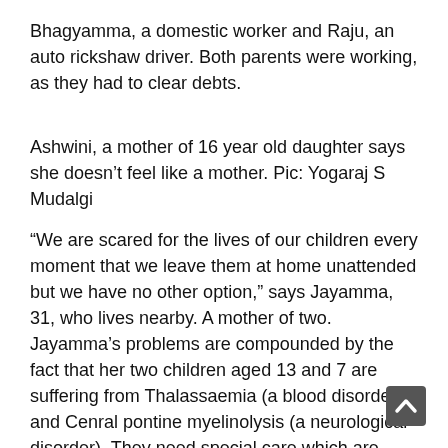Bhagyamma, a domestic worker and Raju, an auto rickshaw driver. Both parents were working, as they had to clear debts.
Ashwini, a mother of 16 year old daughter says she doesn’t feel like a mother. Pic: Yogaraj S Mudalgi
“We are scared for the lives of our children every moment that we leave them at home unattended but we have no other option,” says Jayamma, 31, who lives nearby. A mother of two. Jayamma’s problems are compounded by the fact that her two children aged 13 and 7 are suffering from Thalassaemia (a blood disorder) and Cenral pontine myelinolysis (a neurological disorder). They need special care which are lacking in Anganwadis. She works at six houses and her earning are spent in taking care of the